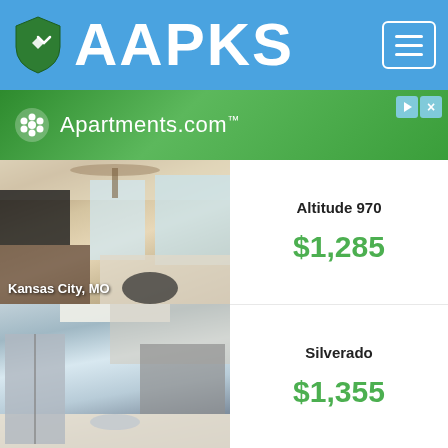AAPKS
[Figure (screenshot): Apartments.com advertisement banner with green gradient background and white logo]
[Figure (photo): Apartment interior living room photo with ceiling fan, Kansas City, MO label]
Altitude 970
$1,285
[Figure (photo): Apartment interior kitchen photo with stainless steel appliances]
Silverado
$1,355